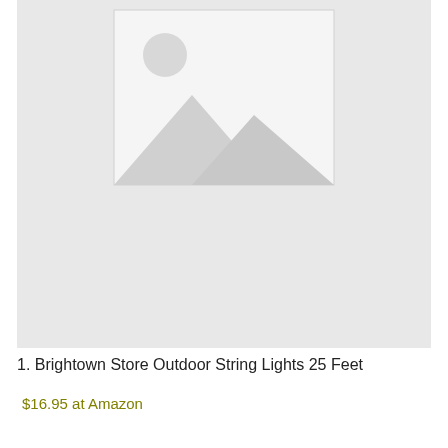[Figure (photo): Placeholder image with grey background showing a generic image placeholder icon (mountain and sun outline in white on grey)]
1. Brightown Store Outdoor String Lights 25 Feet
$16.95 at Amazon